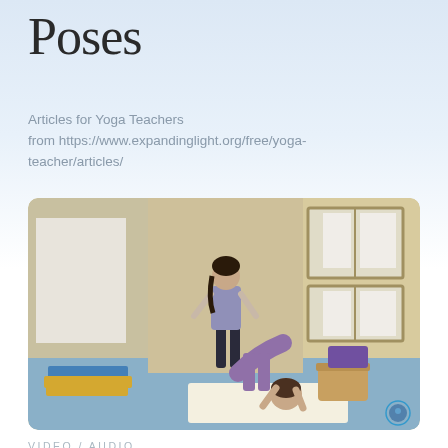Poses
Articles for Yoga Teachers
from https://www.expandinglight.org/free/yoga-teacher/articles/
[Figure (photo): A yoga instructor standing upright in a studio room, assisting a student who is in a forward-bend pose on a yoga mat. The room has cream-colored walls, two windows with white panes, a blue mat in the back left, and a basket with a purple mat on the right.]
VIDEO / AUDIO
Ananda Yoga Instructional